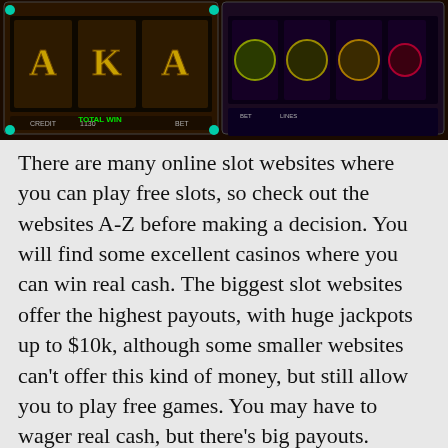[Figure (screenshot): Screenshot of two online slot machine games side by side, showing reels with playing card symbols (A, K) and themed symbols on dark golden backgrounds.]
There are many online slot websites where you can play free slots, so check out the websites A-Z before making a decision. You will find some excellent casinos where you can win real cash. The biggest slot websites offer the highest payouts, with huge jackpots up to $10k, although some smaller websites can't offer this kind of money, but still allow you to play free games. You may have to wager real cash, but there's big payouts.
In order to win real money from slot tournaments, players need to hone their winning skills. One way of doing that is through